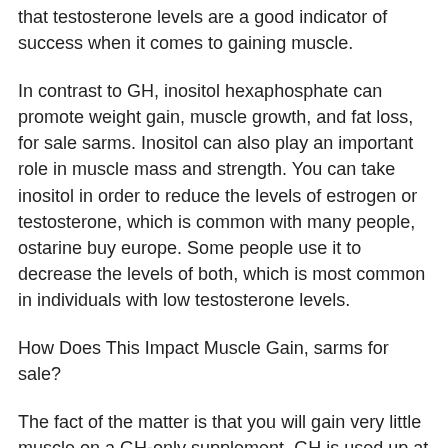that testosterone levels are a good indicator of success when it comes to gaining muscle.
In contrast to GH, inositol hexaphosphate can promote weight gain, muscle growth, and fat loss, for sale sarms. Inositol can also play an important role in muscle mass and strength. You can take inositol in order to reduce the levels of estrogen or testosterone, which is common with many people, ostarine buy europe. Some people use it to decrease the levels of both, which is most common in individuals with low testosterone levels.
How Does This Impact Muscle Gain, sarms for sale?
The fact of the matter is that you will gain very little muscle on a GH-only supplement. GH is used up at very young ages and